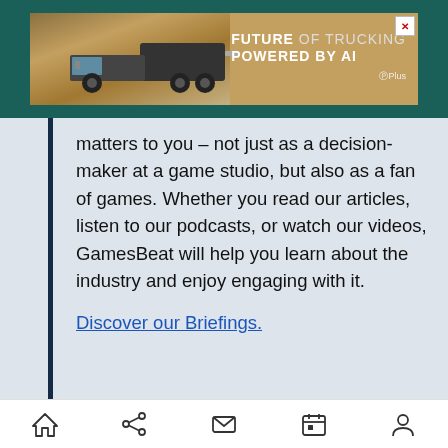[Figure (screenshot): Ad banner showing a truck in desert landscape with text 'FUTURE OF TRUCKING POWERED BY AI' and G+ Plus logo, with X close button]
matters to you – not just as a decision-maker at a game studio, but also as a fan of games. Whether you read our articles, listen to our podcasts, or watch our videos, GamesBeat will help you learn about the industry and enjoy engaging with it.
Discover our Briefings.
GamesBeat Summit Next
Join gaming leaders live this October 25-26 in San Francisco to examine the next big opportunities
[Figure (screenshot): Mobile browser bottom navigation bar with home, share, mail, calendar, and profile icons]